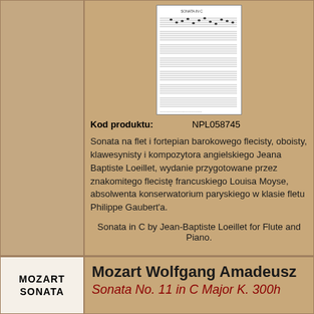[Figure (illustration): Thumbnail preview of sheet music for Sonata in C by Loeillet, showing musical notation on staves]
Kod produktu:    NPL058745
Sonata na flet i fortepian barokowego flecisty, oboisty, klawesynisty i kompozytora angielskiego Jeana Baptiste Loeillet, wydanie przygotowane przez znakomitego flecistę francuskiego Louisa Moyse, absolwenta konserwatorium paryskiego w klasie fletu Philippe Gaubert'a.
Sonata in C by Jean-Baptiste Loeillet for Flute and Piano.
Lista utworów:
Sonata in C (Loeillet Jean-Baptiste)
[Figure (illustration): Book cover showing MOZART SONATA label]
Mozart Wolfgang Amadeusz
Sonata No. 11 in C Major K. 300h